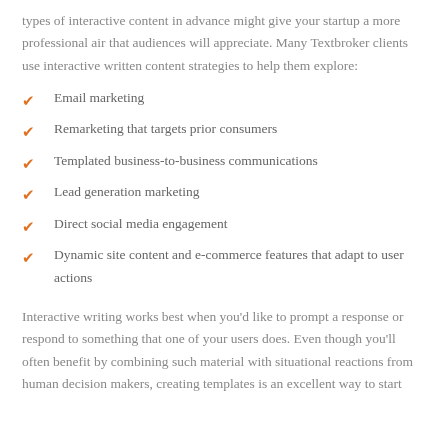types of interactive content in advance might give your startup a more professional air that audiences will appreciate. Many Textbroker clients use interactive written content strategies to help them explore:
Email marketing
Remarketing that targets prior consumers
Templated business-to-business communications
Lead generation marketing
Direct social media engagement
Dynamic site content and e-commerce features that adapt to user actions
Interactive writing works best when you'd like to prompt a response or respond to something that one of your users does. Even though you'll often benefit by combining such material with situational reactions from human decision makers, creating templates is an excellent way to start